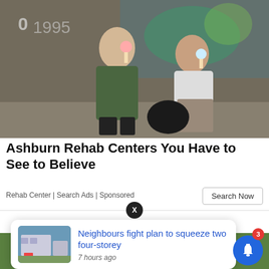[Figure (photo): Two young women sitting against a graffiti wall eating ice cream. One has long blonde hair wearing a green jacket; the other has curly dark hair wearing a white top with animal print pants.]
Ashburn Rehab Centers You Have to See to Believe
Rehab Center | Search Ads | Sponsored
Search Now
[Figure (screenshot): Notification card overlay showing a thumbnail of a building and headline: Neighbours fight plan to squeeze two four-storey, 7 hours ago]
[Figure (photo): Bottom portion of page showing green grass background with a person]